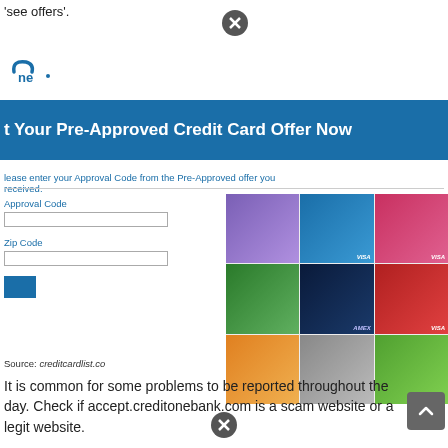'see offers'.
[Figure (logo): Credit One Bank partial logo, blue arrow and 'ne' text]
[Figure (screenshot): Blue banner reading 't Your Pre-Approved Credit Card Offer Now']
lease enter your Approval Code from the Pre-Approved offer you received.
[Figure (screenshot): Form with Approval Code and Zip Code fields and a blue submit button alongside a grid of Credit One credit card images (purple, blue, pink, dark blue, red, orange, grey, green)]
Source: creditcardlist.co
It is common for some problems to be reported throughout the day. Check if accept.creditonebank.com is a scam website or a legit website.